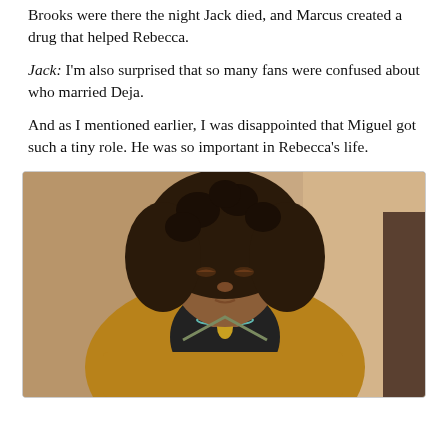Brooks were there the night Jack died, and Marcus created a drug that helped Rebecca.
Jack: I'm also surprised that so many fans were confused about who married Deja.
And as I mentioned earlier, I was disappointed that Miguel got such a tiny role. He was so important in Rebecca's life.
[Figure (photo): A woman with curly hair wearing a mustard/golden-brown cardigan over a black turtleneck with a pendant necklace, looking downward, indoor background]